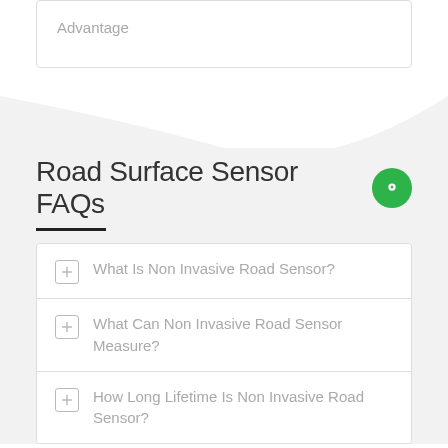Advantage
Road Surface Sensor FAQs
What Is Non Invasive Road Sensor?
What Can Non Invasive Road Sensor Measure?
How Long Lifetime Is Non Invasive Road Sensor?